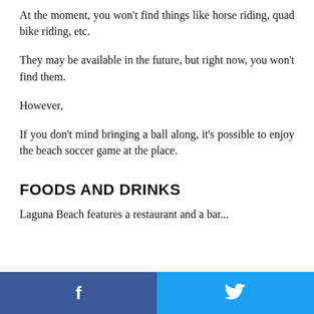At the moment, you won't find things like horse riding, quad bike riding, etc.
They may be available in the future, but right now, you won't find them.
However,
If you don't mind bringing a ball along, it's possible to enjoy the beach soccer game at the place.
FOODS AND DRINKS
Laguna Beach features a restaurant and a bar...